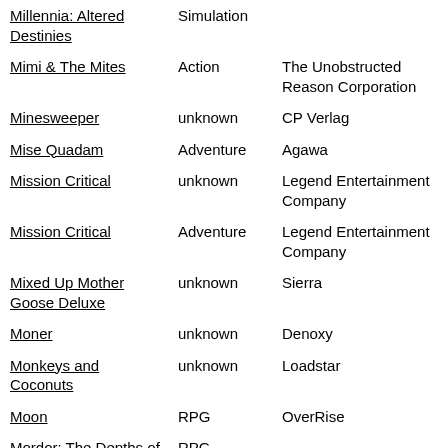| Millennia: Altered Destinies | Simulation |  |
| Mimi & The Mites | Action | The Unobstructed Reason Corporation |
| Minesweeper | unknown | CP Verlag |
| Mise Quadam | Adventure | Agawa |
| Mission Critical | unknown | Legend Entertainment Company |
| Mission Critical | Adventure | Legend Entertainment Company |
| Mixed Up Mother Goose Deluxe | unknown | Sierra |
| Moner | unknown | Denoxy |
| Monkeys and Coconuts | unknown | Loadstar |
| Moon | RPG | OverRise |
| Mordor: The Depths of Dejenol | RPG |  |